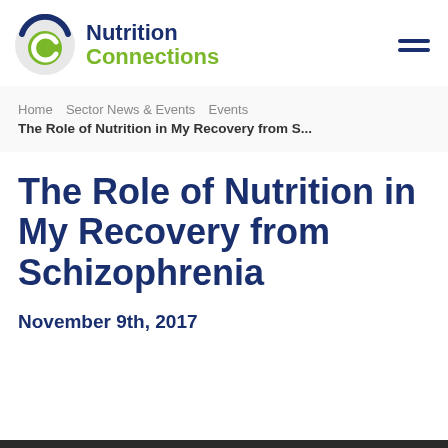[Figure (logo): Nutrition Connections logo with circular icon and text]
Home  Sector News & Events  Events
The Role of Nutrition in My Recovery from S...
The Role of Nutrition in My Recovery from Schizophrenia
November 9th, 2017